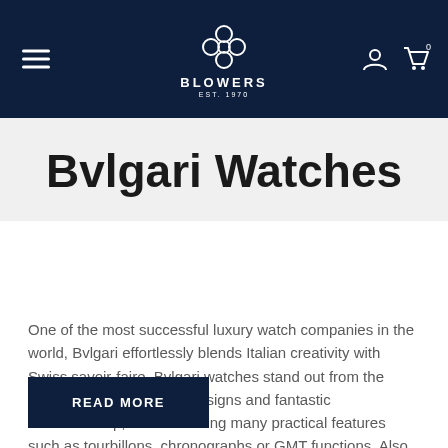BLOWERS EST. 1970
Bvlgari Watches
One of the most successful luxury watch companies in the world, Bvlgari effortlessly blends Italian creativity with Swiss savoir-faire. Bvlgari watches stand out from the crowd with their elegant designs and fantastic craftsmanship, while featuring many practical features such as tourbillons, chronographs or GMT functions. Also known as Bulgari, these exquisite timepieces would be the perfect addition to anybody's collection.
READ MORE